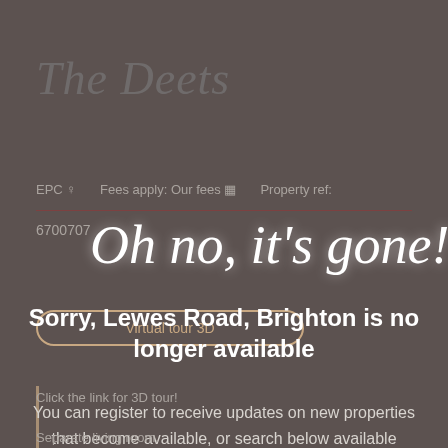The Deets
EPC  Fees apply: Our fees  Property ref:
6700707
Oh no, it's gone!
Virtual tour 3D
Sorry, Lewes Road, Brighton is no longer available
Click the link for 3D tour!
You can register to receive updates on new properties that become available, or search below available properties.
Separate living room.